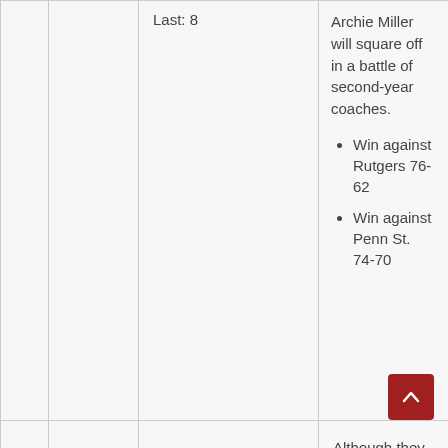Last: 8
Archie Miller will square off in a battle of second-year coaches.
Win against Rutgers 76-62
Win against Penn St. 74-70
Although they lost both games, Minnesota can